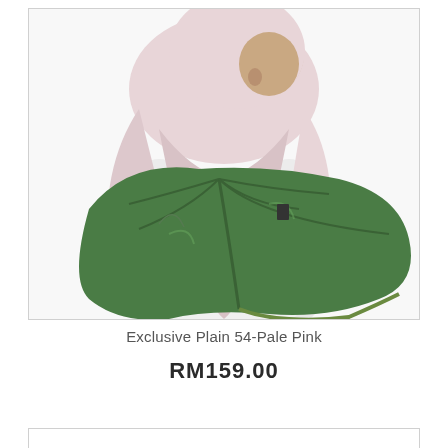[Figure (photo): A woman wearing a pale pink hijab seen from behind/side, holding a large monstera leaf. White top visible. Product photo on white background.]
Exclusive Plain 54-Pale Pink
RM159.00